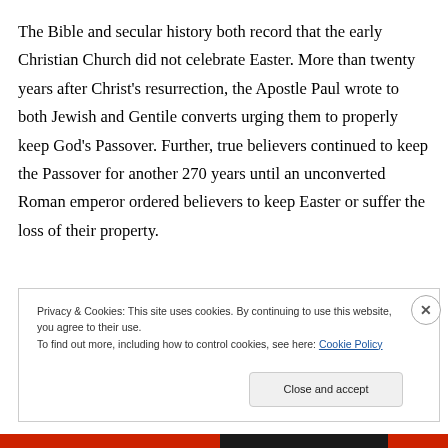The Bible and secular history both record that the early Christian Church did not celebrate Easter. More than twenty years after Christ's resurrection, the Apostle Paul wrote to both Jewish and Gentile converts urging them to properly keep God's Passover. Further, true believers continued to keep the Passover for another 270 years until an unconverted Roman emperor ordered believers to keep Easter or suffer the loss of their property.
Privacy & Cookies: This site uses cookies. By continuing to use this website, you agree to their use.
To find out more, including how to control cookies, see here: Cookie Policy
Close and accept